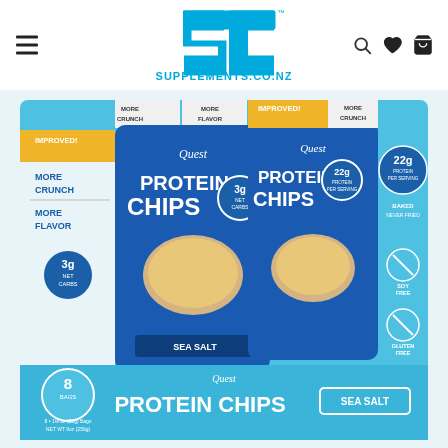[Figure (logo): SC Supplements.co.nz logo in cyan/blue with stylized SC letters above the text SUPPLEMENTS.CO.NZ]
[Figure (photo): Quest Protein Chips Sea Salt variety pack box containing 8 bags (1.1oz/32g each), NET WT 9oz (256g). Box features blue and gold branding. Claims include: IMPROVED!, MORE CRUNCH, MORE FLAVOR, 3g NET CARBS, 22g PROTEIN PER SERVING, BAKED NEVER FRIED, SOY FREE, GLUTEN FREE, 8 BAGS.]